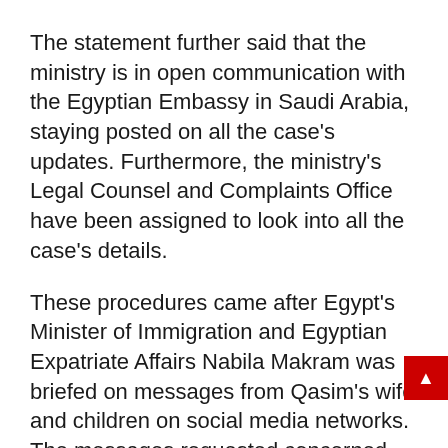The statement further said that the ministry is in open communication with the Egyptian Embassy in Saudi Arabia, staying posted on all the case's updates. Furthermore, the ministry's Legal Counsel and Complaints Office have been assigned to look into all the case's details.
These procedures came after Egypt's Minister of Immigration and Egyptian Expatriate Affairs Nabila Makram was briefed on messages from Qasim's wife and children on social media networks. The messages requested concerned authorities to run investigations again, aiming to prove the innocence of their only provider.
The wife and children visited the ministry, where they submitted all the files relating to